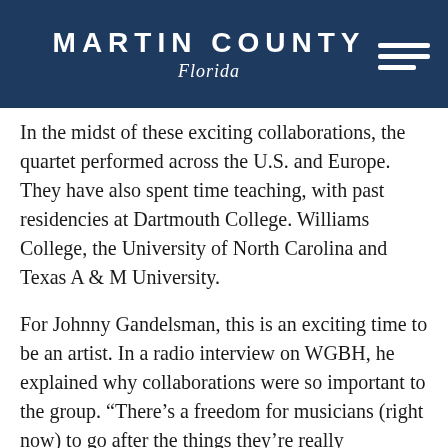MARTIN COUNTY Florida
In the midst of these exciting collaborations, the quartet performed across the U.S. and Europe. They have also spent time teaching, with past residencies at Dartmouth College. Williams College, the University of North Carolina and Texas A & M University.
For Johnny Gandelsman, this is an exciting time to be an artist. In a radio interview on WGBH, he explained why collaborations were so important to the group. “There’s a freedom for musicians (right now) to go after the things they’re really passionate about and make it work, a do-it-yourself feeling, and it’s just incredible how many ensembles there are that explore world music and bring influences of that in what they do. It’s a really exciting time to be a musician. In a way, commissioning all these